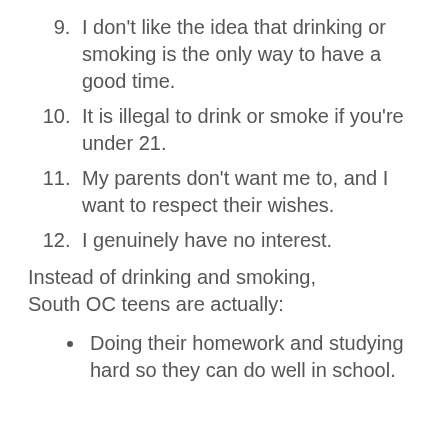9. I don’t like the idea that drinking or smoking is the only way to have a good time.
10. It is illegal to drink or smoke if you’re under 21.
11. My parents don’t want me to, and I want to respect their wishes.
12. I genuinely have no interest.
Instead of drinking and smoking, South OC teens are actually:
Doing their homework and studying hard so they can do well in school.